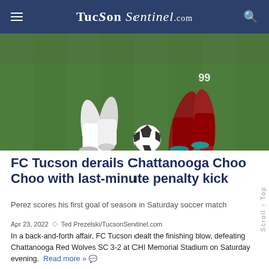TucSon Sentinel.com
[Figure (photo): Soccer players in action on a green field. One player in white uniform and one in red uniform numbered 99 competing for the ball. Close-up of legs and soccer ball.]
FC Tucson derails Chattanooga Choo Choo with last-minute penalty kick
Perez scores his first goal of season in Saturday soccer match
Apr 23, 2022  Ted Prezelski/TucsonSentinel.com
In a back-and-forth affair, FC Tucson dealt the finishing blow, defeating Chattanooga Red Wolves SC 3-2 at CHI Memorial Stadium on Saturday evening.  Read more »